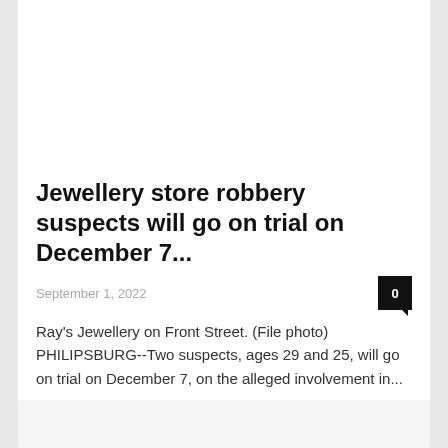Jewellery store robbery suspects will go on trial on December 7...
September 1, 2022
Ray's Jewellery on Front Street. (File photo)   PHILIPSBURG--Two suspects, ages 29 and 25, will go on trial on December 7, on the alleged involvement in...